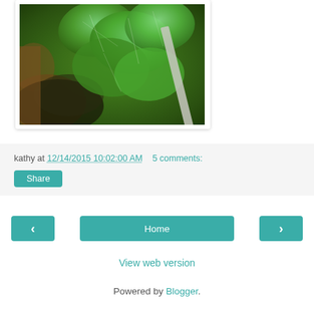[Figure (photo): Garden raised bed with green leafy vegetables including kale and lettuce, viewed from above, with a metal rail visible along the right side]
kathy at 12/14/2015 10:02:00 AM   5 comments:
Share
‹
Home
›
View web version
Powered by Blogger.